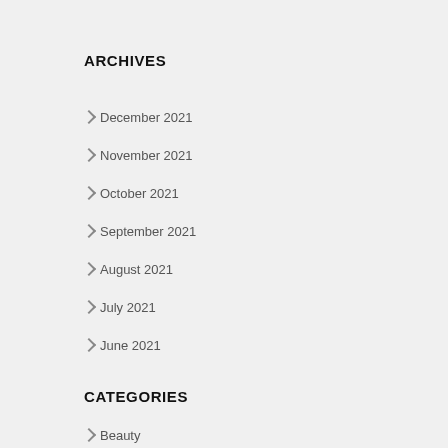ARCHIVES
December 2021
November 2021
October 2021
September 2021
August 2021
July 2021
June 2021
CATEGORIES
Beauty
NEWS & REVIEWS